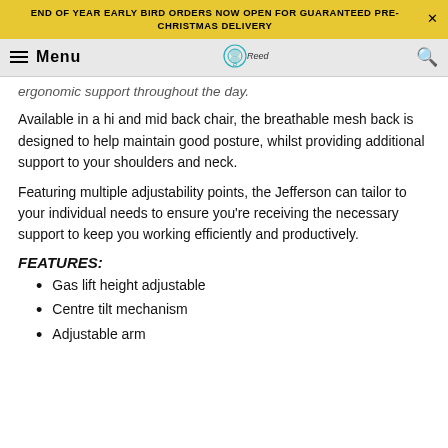END OF YEAR EARLY BIRD ORDERS NOW OPEN FOR GUARANTEED PRE-CHRISTMAS DELIVERY
Menu | Reed logo | Search
ergonomic support throughout the day.
Available in a hi and mid back chair, the breathable mesh back is designed to help maintain good posture, whilst providing additional support to your shoulders and neck.
Featuring multiple adjustability points, the Jefferson can tailor to your individual needs to ensure you're receiving the necessary support to keep you working efficiently and productively.
FEATURES:
Gas lift height adjustable
Centre tilt mechanism
Adjustable arm...